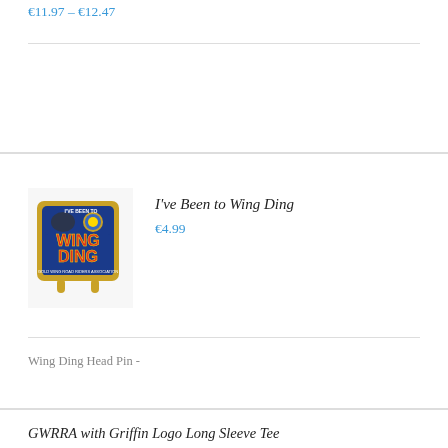€11.97 – €12.47
[Figure (photo): Wing Ding commemorative head pin — blue enamel badge with red 'WING DING' text and gold frame with hanging loops]
I've Been to Wing Ding
€4.99
Wing Ding Head Pin -
GWRRA with Griffin Logo Long Sleeve Tee